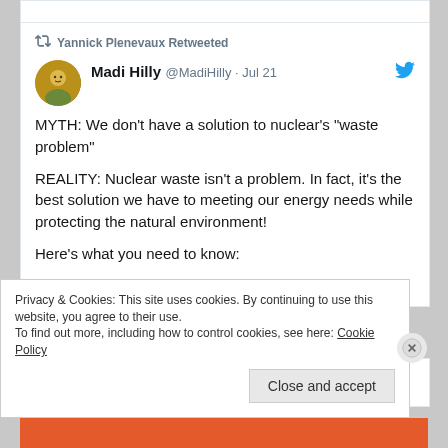Yannick Plenevaux Retweeted
Madi Hilly @MadiHilly · Jul 21
MYTH: We don't have a solution to nuclear's "waste problem"

REALITY: Nuclear waste isn't a problem. In fact, it's the best solution we have to meeting our energy needs while protecting the natural environment!

Here's what you need to know:
2,702  146K
Yannick Plenevaux Retweeted
Privacy & Cookies: This site uses cookies. By continuing to use this website, you agree to their use.
To find out more, including how to control cookies, see here: Cookie Policy
Close and accept